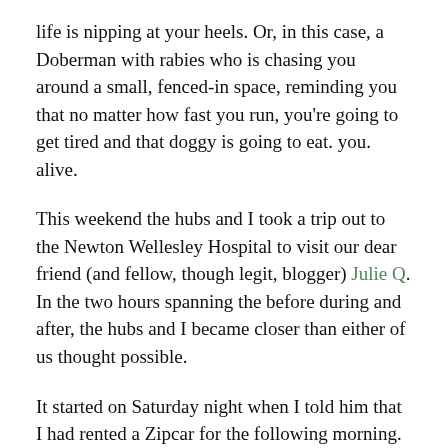life is nipping at your heels. Or, in this case, a Doberman with rabies who is chasing you around a small, fenced-in space, reminding you that no matter how fast you run, you're going to get tired and that doggy is going to eat. you. alive.
This weekend the hubs and I took a trip out to the Newton Wellesley Hospital to visit our dear friend (and fellow, though legit, blogger) Julie Q. In the two hours spanning the before during and after, the hubs and I became closer than either of us thought possible.
It started on Saturday night when I told him that I had rented a Zipcar for the following morning. He responded with his perfunctory “why?” the one that has been my constant companion these seven years. It wouldn’t matter if Obama gave me a